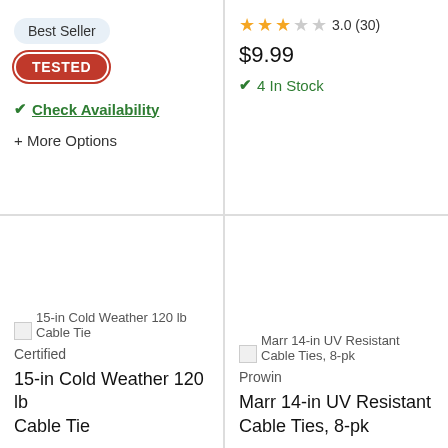Best Seller
TESTED
✔ Check Availability
+ More Options
3.0 (30) $9.99 ✔ 4 In Stock
[Figure (photo): Product image placeholder for 15-in Cold Weather 120 lb Cable Tie]
[Figure (photo): Product image placeholder for Marr 14-in UV Resistant Cable Ties, 8-pk]
Certified
15-in Cold Weather 120 lb Cable Tie
Prowin
Marr 14-in UV Resistant Cable Ties, 8-pk